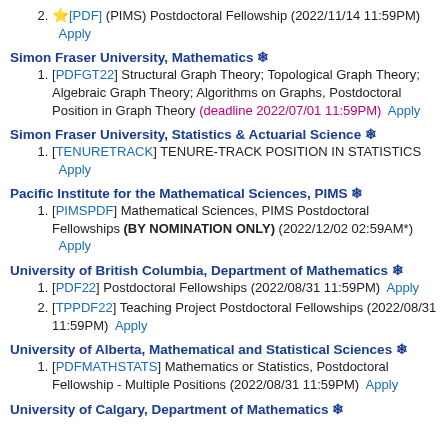2. ★[PDF] (PIMS) Postdoctoral Fellowship (2022/11/14 11:59PM) Apply
Simon Fraser University, Mathematics ❄
1. [PDFGT22] Structural Graph Theory; Topological Graph Theory; Algebraic Graph Theory; Algorithms on Graphs, Postdoctoral Position in Graph Theory (deadline 2022/07/01 11:59PM) Apply
Simon Fraser University, Statistics & Actuarial Science ❄
1. [TENURETRACK] TENURE-TRACK POSITION IN STATISTICS Apply
Pacific Institute for the Mathematical Sciences, PIMS ❄
1. [PIMSPDF] Mathematical Sciences, PIMS Postdoctoral Fellowships (BY NOMINATION ONLY) (2022/12/02 02:59AM*) Apply
University of British Columbia, Department of Mathematics ❄
1. [PDF22] Postdoctoral Fellowships (2022/08/31 11:59PM) Apply
2. [TPPDF22] Teaching Project Postdoctoral Fellowships (2022/08/31 11:59PM) Apply
University of Alberta, Mathematical and Statistical Sciences ❄
1. [PDFMATHSTATS] Mathematics or Statistics, Postdoctoral Fellowship - Multiple Positions (2022/08/31 11:59PM) Apply
University of Calgary, Department of Mathematics ❄